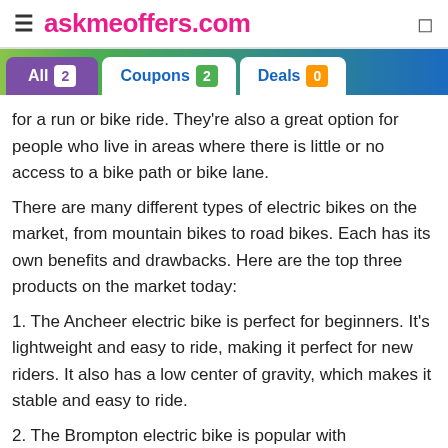askmeoffers.com
All 2  Coupons 2  Deals 0
for a run or bike ride. They're also a great option for people who live in areas where there is little or no access to a bike path or bike lane.
There are many different types of electric bikes on the market, from mountain bikes to road bikes. Each has its own benefits and drawbacks. Here are the top three products on the market today:
1. The Ancheer electric bike is perfect for beginners. It's lightweight and easy to ride, making it perfect for new riders. It also has a low center of gravity, which makes it stable and easy to ride.
2. The Brompton electric bike is popular with experienced riders. It's versatile and can be used for both urban and